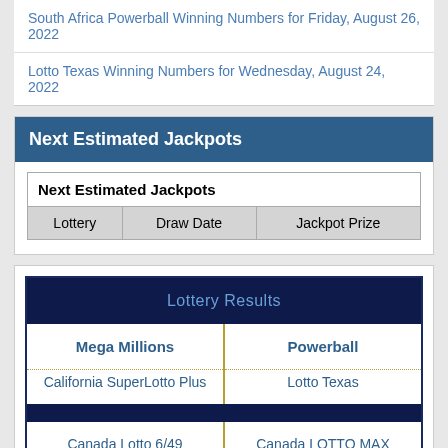South Africa Powerball Winning Numbers for Friday, August 26, 2022
Lotto Texas Winning Numbers for Wednesday, August 24, 2022
Next Estimated Jackpots
| Lottery | Draw Date | Jackpot Prize |
| --- | --- | --- |
Lottery Results
|  |  |
| --- | --- |
| Mega Millions | Powerball |
| California SuperLotto Plus | Lotto Texas |
| Canada Lotto 6/49 | Canada LOTTO MAX |
| Lotto 6/49 |  |
| Euro Millions | Eurojackpot |